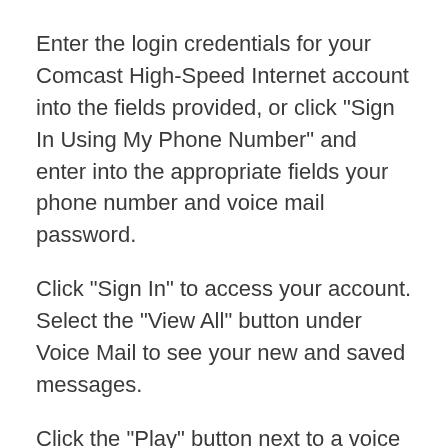Enter the login credentials for your Comcast High-Speed Internet account into the fields provided, or click "Sign In Using My Phone Number" and enter into the appropriate fields your phone number and voice mail password.
Click "Sign In" to access your account. Select the "View All" button under Voice Mail to see your new and saved messages.
Click the "Play" button next to a voice mail to listen to the message.
References
Resources
Tips